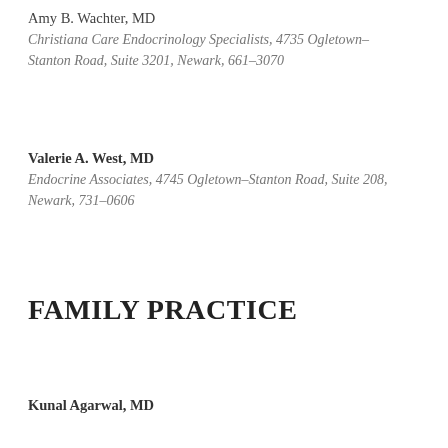Amy B. Wachter, MD
Christiana Care Endocrinology Specialists, 4735 Ogletown–Stanton Road, Suite 3201, Newark, 661–3070
Valerie A. West, MD
Endocrine Associates, 4745 Ogletown–Stanton Road, Suite 208, Newark, 731–0606
FAMILY PRACTICE
Kunal Agarwal, MD